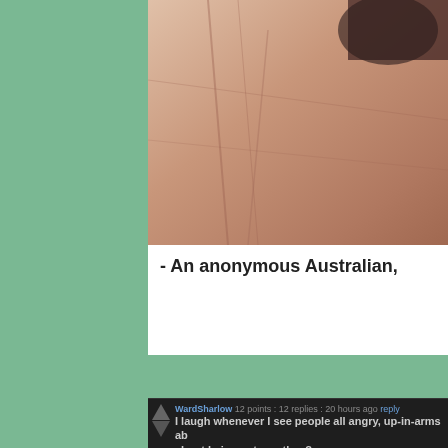[Figure (photo): Close-up photo of a palm/hand skin]
- An anonymous Australian,
WardSharlow 12 points : 12 replies : 20 hours ago reply
I laugh whenever I see people all angry, up-in-arms about being cut, are they?
BlazeFireheart0 37 points : 2 replies : 20 hours ago reply
Honestly, not crying. Deeply angry that I didn't cho...
Luminousfox 15 points : 2 replies : 20 hours ago reply
I've seen people suicidal over it, hating their parents... hated it, yet he wanted me to get it. Bastard >_>
Olestra via Android 9 points : 2 replies : 20 hours ago
If I could have kept my foreskin, I would have. sex n... condom